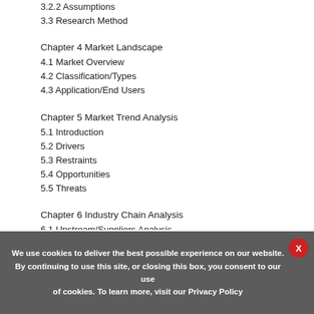3.2.2 Assumptions
3.3 Research Method
Chapter 4 Market Landscape
4.1 Market Overview
4.2 Classification/Types
4.3 Application/End Users
Chapter 5 Market Trend Analysis
5.1 Introduction
5.2 Drivers
5.3 Restraints
5.4 Opportunities
5.5 Threats
Chapter 6 Industry Chain Analysis
6.1 Upstream/Suppliers Analysis
6.2 Protocatechuic Acid Analysis
6.2.1 Technology Analysis
We use cookies to deliver the best possible experience on our website. By continuing to use this site, or closing this box, you consent to our use of cookies. To learn more, visit our Privacy Policy